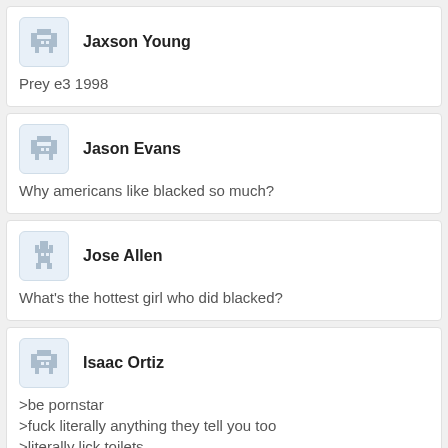Jaxson Young
Prey e3 1998
Jason Evans
Why americans like blacked so much?
Jose Allen
What's the hottest girl who did blacked?
Isaac Ortiz
>be pornstar
>fuck literally anything they tell you too
>literally lick toilets
>eat literal shit on camera
>vomit and eat it on camera
>do rim jobs